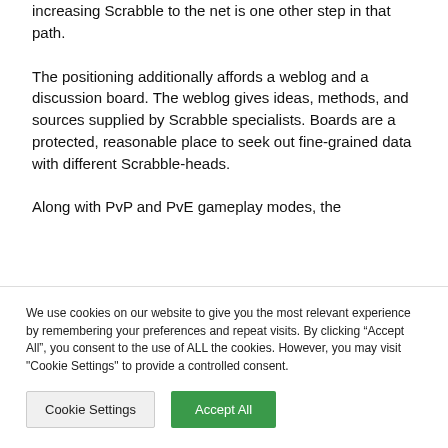increasing Scrabble to the net is one other step in that path.
The positioning additionally affords a weblog and a discussion board. The weblog gives ideas, methods, and sources supplied by Scrabble specialists. Boards are a protected, reasonable place to seek out fine-grained data with different Scrabble-heads.
Along with PvP and PvE gameplay modes, the
We use cookies on our website to give you the most relevant experience by remembering your preferences and repeat visits. By clicking “Accept All”, you consent to the use of ALL the cookies. However, you may visit "Cookie Settings" to provide a controlled consent.